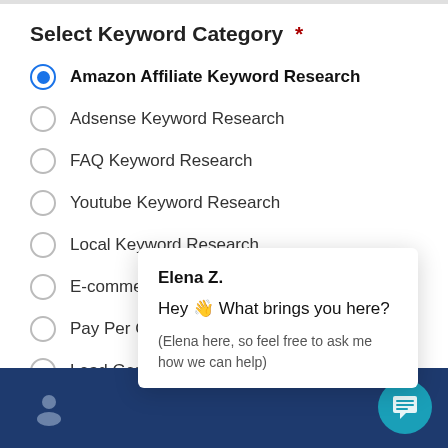Select Keyword Category *
Amazon Affiliate Keyword Research (selected)
Adsense Keyword Research
FAQ Keyword Research
Youtube Keyword Research
Local Keyword Research
E-commerce K[eyword Research]
Pay Per Click [...]
Lead Generat[ion...]
[Figure (screenshot): Chat popup overlay from Elena Z. saying 'Hey 👋 What brings you here? (Elena here, so feel free to ask me how we can help)']
Dark blue navigation footer bar with user icon